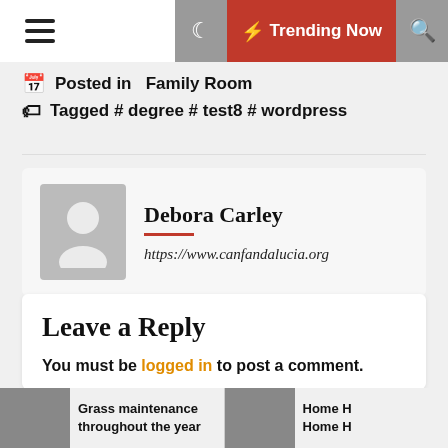Trending Now
Posted in Family Room
Tagged # degree # test8 # wordpress
Debora Carley
https://www.canfandalucia.org
Leave a Reply
You must be logged in to post a comment.
Grass maintenance throughout the year
Home H Home H